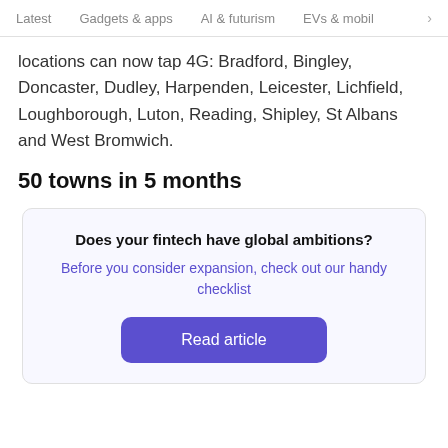Latest   Gadgets & apps   AI & futurism   EVs & mobil  >
locations can now tap 4G: Bradford, Bingley, Doncaster, Dudley, Harpenden, Leicester, Lichfield, Loughborough, Luton, Reading, Shipley, St Albans and West Bromwich.
50 towns in 5 months
Does your fintech have global ambitions?
Before you consider expansion, check out our handy checklist
Read article